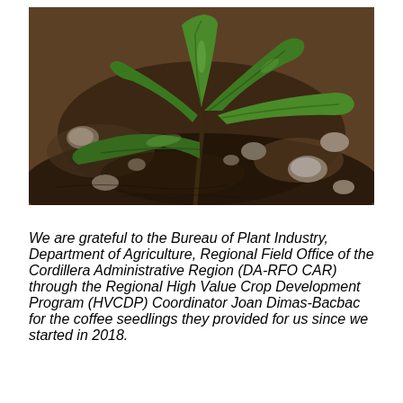[Figure (photo): Close-up photograph of a young coffee seedling plant with large glossy green leaves growing in dark soil with small stones and gravel around its base.]
We are grateful to the Bureau of Plant Industry, Department of Agriculture, Regional Field Office of the Cordillera Administrative Region (DA-RFO CAR) through the Regional High Value Crop Development Program (HVCDP) Coordinator Joan Dimas-Bacbac for the coffee seedlings they provided for us since we started in 2018.